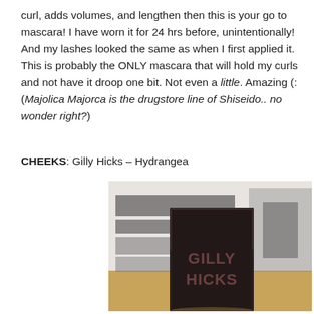curl, adds volumes, and lengthen then this is your go to mascara! I have worn it for 24 hrs before, unintentionally! And my lashes looked the same as when I first applied it. This is probably the ONLY mascara that will hold my curls and not have it droop one bit. Not even a little. Amazing (: (Majolica Majorca is the drugstore line of Shiseido.. no wonder right?)
CHEEKS: Gilly Hicks – Hydrangea
[Figure (photo): Photo of a Gilly Hicks compact/blush product (dark square packaging with GILLY HICKS text) sitting on a wooden shelf with blurred background items]